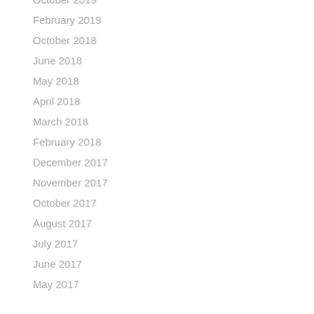October 2019
February 2019
October 2018
June 2018
May 2018
April 2018
March 2018
February 2018
December 2017
November 2017
October 2017
August 2017
July 2017
June 2017
May 2017